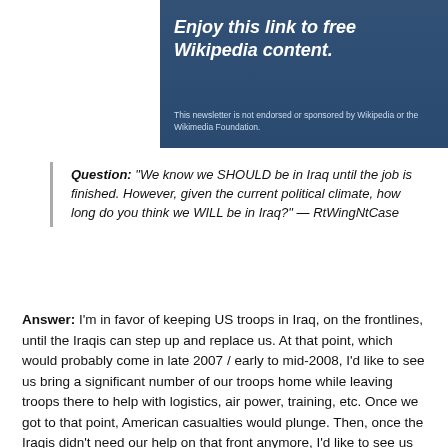[Figure (illustration): Dark blue-tinted outdoor/nature banner image with italic bold white text reading 'Enjoy this link to free Wikipedia content.' and smaller text below: 'This newsletter is not endorsed or sponsored by Wikipedia or the Wikimedia Foundation.']
Question: "We know we SHOULD be in Iraq until the job is finished. However, given the current political climate, how long do you think we WILL be in Iraq?" — RtWingNtCase
Answer: I'm in favor of keeping US troops in Iraq, on the frontlines, until the Iraqis can step up and replace us. At that point, which would probably come in late 2007 / early to mid-2008, I'd like to see us bring a significant number of our troops home while leaving troops there to help with logistics, air power, training, etc. Once we got to that point, American casualties would plunge. Then, once the Iraqis didn't need our help on that front anymore, I'd like to see us have bases in Iraq long-term, maybe in the Kurdish area. So, in other words, we should be shooting for victory and long-term stability in Iraq.